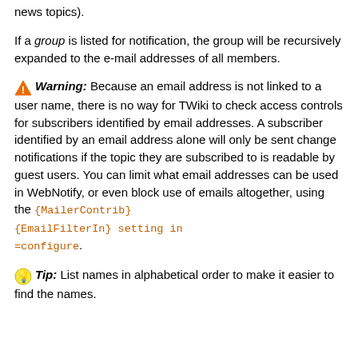news topics).
If a group is listed for notification, the group will be recursively expanded to the e-mail addresses of all members.
⚠ Warning: Because an email address is not linked to a user name, there is no way for TWiki to check access controls for subscribers identified by email addresses. A subscriber identified by an email address alone will only be sent change notifications if the topic they are subscribed to is readable by guest users. You can limit what email addresses can be used in WebNotify, or even block use of emails altogether, using the {MailerContrib} {EmailFilterIn} setting in =configure.
💡 Tip: List names in alphabetical order to make it easier to find the names.